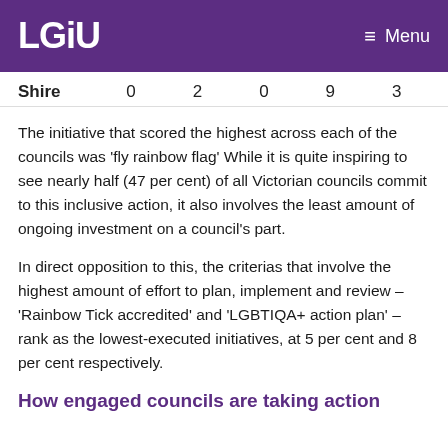LGiU  Menu
| Shire | 0 | 2 | 0 | 9 | 3 |
| --- | --- | --- | --- | --- | --- |
The initiative that scored the highest across each of the councils was 'fly rainbow flag' While it is quite inspiring to see nearly half (47 per cent) of all Victorian councils commit to this inclusive action, it also involves the least amount of ongoing investment on a council's part.
In direct opposition to this, the criterias that involve the highest amount of effort to plan, implement and review – 'Rainbow Tick accredited' and 'LGBTIQA+ action plan' – rank as the lowest-executed initiatives, at 5 per cent and 8 per cent respectively.
How engaged councils are taking action